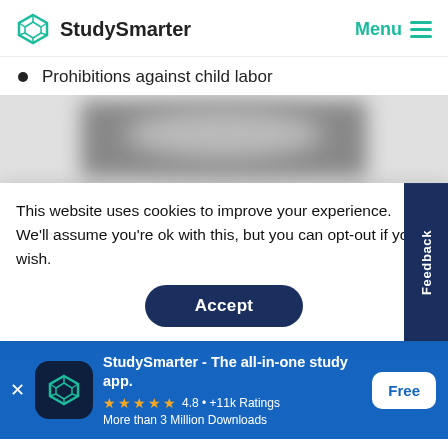StudySmarter | Menu
Prohibitions against child labor
[Figure (photo): Blurred/redacted image area, content obscured]
This website uses cookies to improve your experience. We'll assume you're ok with this, but you can opt-out if you wish.
Accept
Feedback
StudySmarter - The all-in-one study app.
4.8 • +11k Ratings
More than 3 Million Downloads
Free